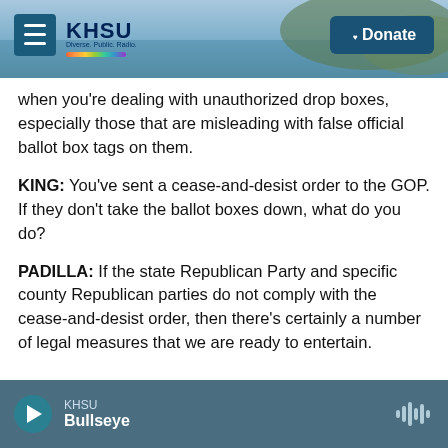[Figure (screenshot): KHSU radio station website header with logo, hamburger menu, and Donate button over a coastal landscape photo]
when you're dealing with unauthorized drop boxes, especially those that are misleading with false official ballot box tags on them.
KING: You've sent a cease-and-desist order to the GOP. If they don't take the ballot boxes down, what do you do?
PADILLA: If the state Republican Party and specific county Republican parties do not comply with the cease-and-desist order, then there's certainly a number of legal measures that we are ready to entertain.
KHSU Bullseye